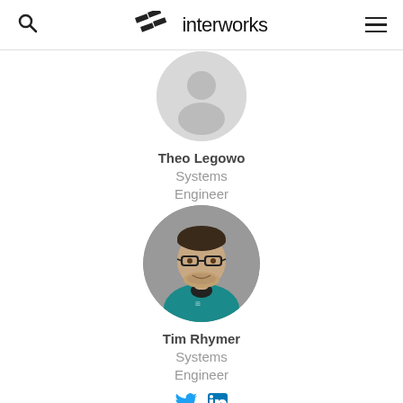interworks
[Figure (photo): Circular avatar placeholder (gray silhouette) for Theo Legowo, partially cropped at top of page]
Theo Legowo
Systems Engineer
[Figure (photo): Circular profile photo of Tim Rhymer, a man with glasses and a beard wearing a teal shirt, smiling against a gray background]
Tim Rhymer
Systems Engineer
[Figure (other): Twitter and LinkedIn social media icons in blue]